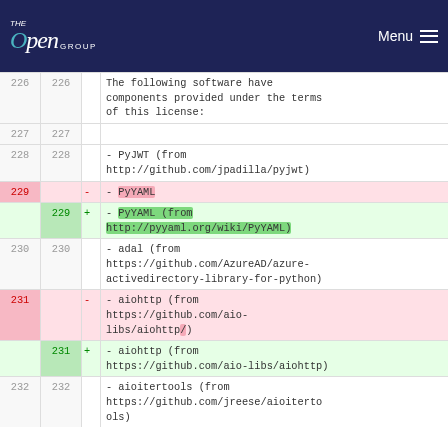The Open Group — Menu
| old | new | sign | code |
| --- | --- | --- | --- |
| 226 | 226 |  | The following software have components provided under the terms of this license: |
| 227 | 227 |  |  |
| 228 | 228 |  | - PyJWT (from http://github.com/jpadilla/pyjwt) |
| 229 |  | -  | - PyYAML |
|  | 229 | +  | - PyYAML (from http://pyyaml.org/wiki/PyYAML) |
| 230 | 230 |  | - adal (from https://github.com/AzureAD/azure-activedirectory-library-for-python) |
| 231 |  | -  | - aiohttp (from https://github.com/aio-libs/aiohttp/) |
|  | 231 | +  | - aiohttp (from https://github.com/aio-libs/aiohttp) |
| 232 | 232 |  | - aioitertools (from https://github.com/jreese/aioitertools) |